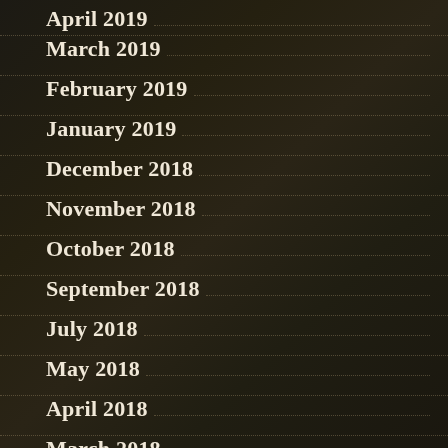April 2019
March 2019
February 2019
January 2019
December 2018
November 2018
October 2018
September 2018
July 2018
May 2018
April 2018
March 2018